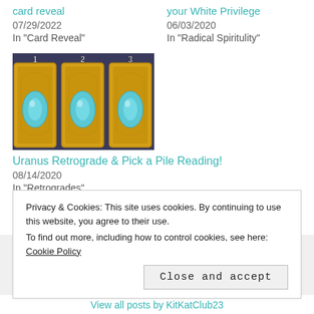card reveal — 07/29/2022 — In "Card Reveal"
your White Privilege — 06/03/2020 — In "Radical Spirituity"
[Figure (photo): Three tarot cards numbered 1, 2, 3 with blue gem designs on gold backgrounds]
Uranus Retrograde & Pick a Pile Reading! — 08/14/2020 — In "Retrogrades"
Privacy & Cookies: This site uses cookies. By continuing to use this website, you agree to their use. To find out more, including how to control cookies, see here: Cookie Policy
Close and accept
View all posts by KitKatClub23